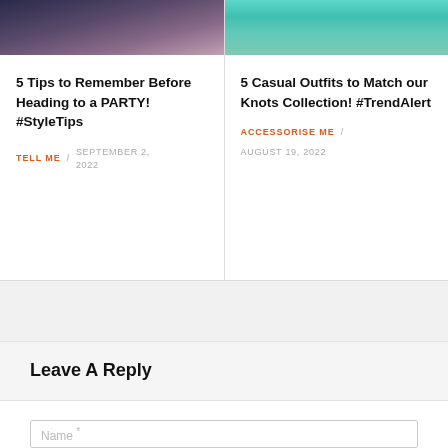[Figure (photo): Left card top image: group of women at a party holding champagne glasses, dark background]
5 Tips to Remember Before Heading to a PARTY! #StyleTips
TELL ME / SEPTEMBER 2, 2022
[Figure (photo): Right card top image: person in pink top and jeans against teal background]
5 Casual Outfits to Match our Knots Collection! #TrendAlert
ACCESSORISE ME / AUGUST 19, 2022
Leave A Reply
Name *